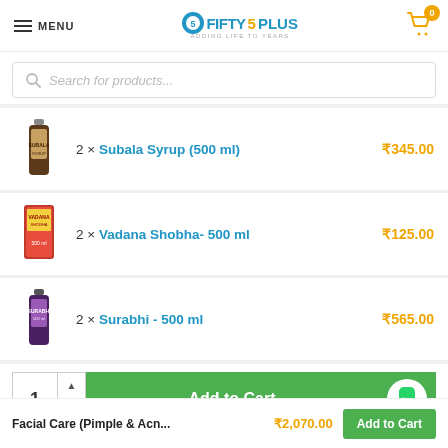MENU | FIFTY5PLUS Adding Life To Years | Cart: 0
Search for products...
2 × Subala Syrup (500 ml) ₹345.00
2 × Vadana Shobha- 500 ml ₹125.00
2 × Surabhi - 500 ml ₹565.00
1  Add to Cart
Facial Care (Pimple & Acn... ₹2,070.00  Add to Cart